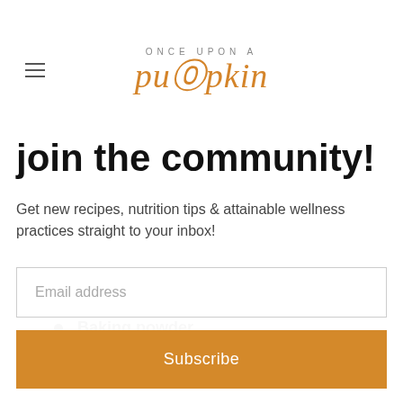ONCE UPON A pumpkin
join the community!
Get new recipes, nutrition tips & attainable wellness practices straight to your inbox!
Email address
Subscribe
Baking powder
Salt